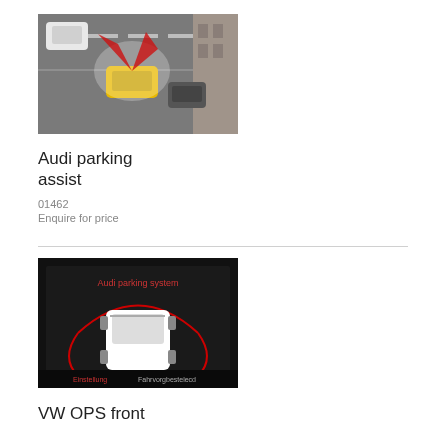[Figure (photo): Aerial view illustration of a yellow car with parking sensors active, red detection beams shown, with other cars on a road]
Audi parking assist
01462
Enquire for price
[Figure (screenshot): In-car screen display showing Audi parking system with top-down white car view and red proximity arcs, with 'Audi parking system' text at top and 'Einstellung Fahrvorgbeselecd' at bottom]
VW OPS front